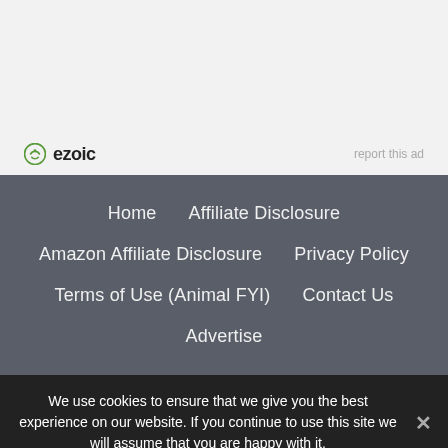[Figure (logo): Ezoic logo with circular green icon and bold 'ezoic' text]
report this ad
Home  Affiliate Disclosure
Amazon Affiliate Disclosure  Privacy Policy
Terms of Use (Animal FYI)  Contact Us
Advertise
We use cookies to ensure that we give you the best experience on our website. If you continue to use this site we will assume that you are happy with it.